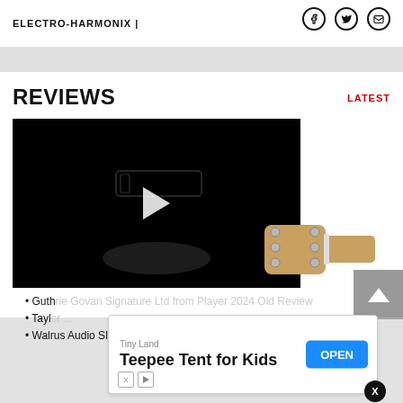ELECTRO-HARMONIX |
REVIEWS
LATEST
[Figure (screenshot): Video player with dark background showing a guitar pickup product with a play button overlay. A Fender Stratocaster guitar headstock is partially visible on the right side.]
Guth...
Tayl...
Walrus Audio Slotvd Review
[Figure (screenshot): Advertisement banner: Tiny Land - Teepee Tent for Kids with OPEN button]